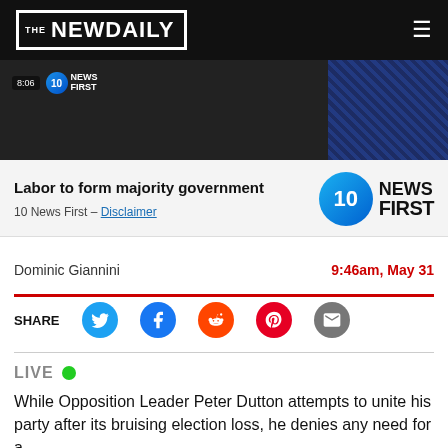THE NEWDAILY
[Figure (screenshot): Video still showing 10 News First broadcast with time 8:06]
Labor to form majority government
10 News First – Disclaimer
Dominic Giannini
9:46am, May 31
LIVE
While Opposition Leader Peter Dutton attempts to unite his party after its bruising election loss, he denies any need for a serious shift in his values.